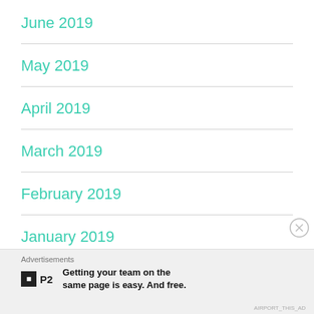June 2019
May 2019
April 2019
March 2019
February 2019
January 2019
December 2018
Advertisements
Getting your team on the same page is easy. And free.